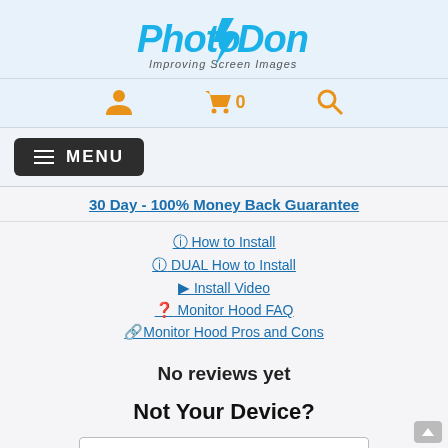[Figure (logo): PhotoDon logo with tagline 'Improving Screen Images' in blue and gray italic text]
[Figure (infographic): Navigation icon bar with orange person icon, orange cart icon with '0' count, and orange search/magnify icon]
≡ MENU
30 Day - 100% Money Back Guarantee
ℹ How to Install
ℹ DUAL How to Install
▶ Install Video
? Monitor Hood FAQ
🔗 Monitor Hood Pros and Cons
No reviews yet
Not Your Device?
Search Similar Products